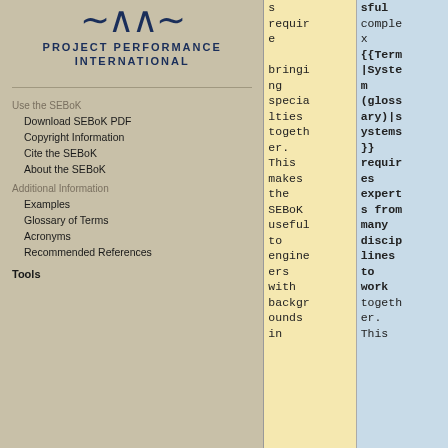[Figure (logo): Project Performance International logo with wave symbol]
PROJECT PERFORMANCE INTERNATIONAL
Use the SEBoK
Download SEBoK PDF
Copyright Information
Cite the SEBoK
About the SEBoK
Additional Information
Examples
Glossary of Terms
Acronyms
Recommended References
Tools
s requiring bringing specialties together. This makes the SEBoK useful to engineers with backgrounds in
sful complex {{Term|System (glossary)|systems}} requires experts from many disciplines to work together. This